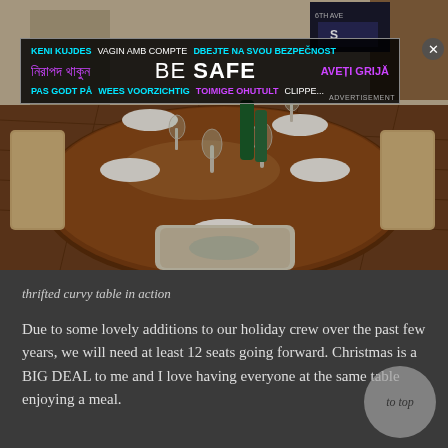[Figure (photo): Dining room with a large octagonal wooden table set for a holiday meal, with white plates, wine glasses, wine bottles, and upholstered chairs. An advertisement overlay reads 'BE SAFE' in multiple languages.]
thrifted curvy table in action
Due to some lovely additions to our holiday crew over the past few years, we will need at least 12 seats going forward. Christmas is a BIG DEAL to me and I love having everyone at the same table enjoying a meal.